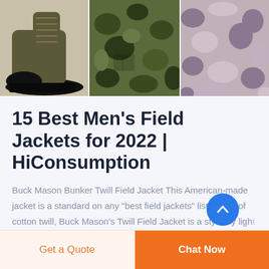[Figure (photo): Three product images in a row: a military/tactical boot on the left, a camouflage jacket in the middle, and a purple/grey camo fabric on the right]
15 Best Men's Field Jackets for 2022 | HiConsumption
Buck Mason Bunker Twill Field Jacket This American-made jacket is a standard on any "best field jackets" list. Made of cotton twill, Buck Mason's Twill Field Jacket is a stylishly light piece of outerwear that is made to last. The jacket